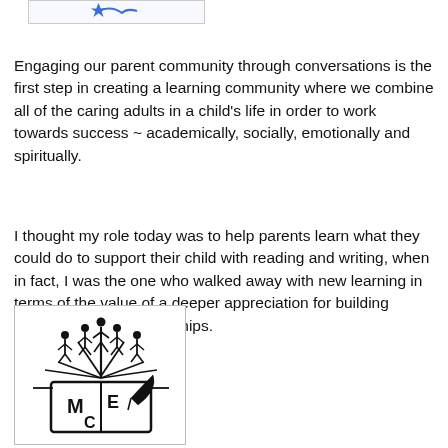[Figure (illustration): Partial view of a blue star or bird illustration in a bordered box at the top of the page]
Engaging our parent community through conversations is the first step in creating a learning community where we combine all of the caring adults in a child's life in order to work towards success ~ academically, socially, emotionally and spiritually.
I thought my role today was to help parents learn what they could do to support their child with reading and writing, when in fact, I was the one who walked away with new learning in terms of the value of a deeper appreciation for building stronger parent partnerships.
[Figure (logo): MEC school logo showing an open book with letters M, E, C and figures rising above it with radiating lines, black and white illustration]